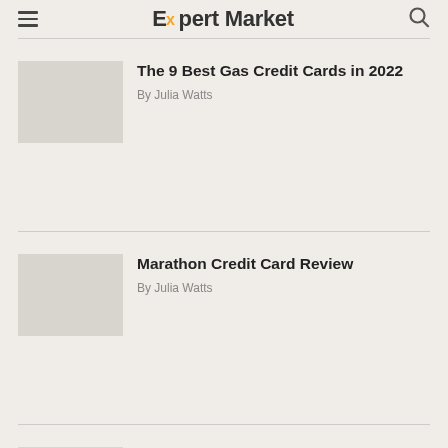Expert Market
The 9 Best Gas Credit Cards in 2022
By Julia Watts
Marathon Credit Card Review
By Julia Watts
Shell Fleet Cards Review: Are They Right for Your Fleet?